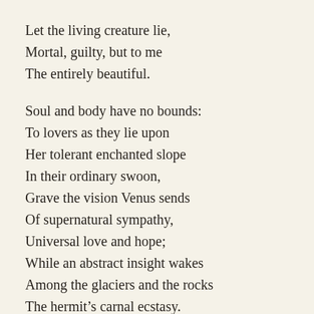Let the living creature lie,
Mortal, guilty, but to me
The entirely beautiful.

Soul and body have no bounds:
To lovers as they lie upon
Her tolerant enchanted slope
In their ordinary swoon,
Grave the vision Venus sends
Of supernatural sympathy,
Universal love and hope;
While an abstract insight wakes
Among the glaciers and the rocks
The hermit’s carnal ecstasy.